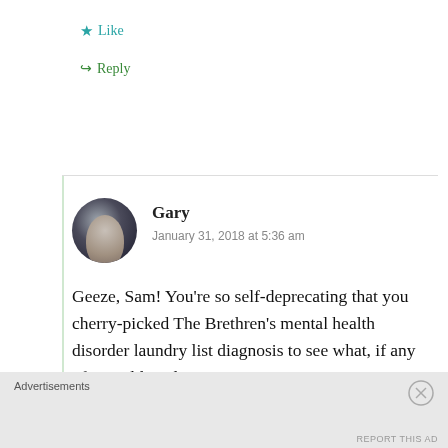★ Like
↪ Reply
Gary
January 31, 2018 at 5:36 am
Geeze, Sam! You're so self-deprecating that you cherry-picked The Brethren's mental health disorder laundry list diagnosis to see what, if any of it could apply to you?

No deal on that BS. (I know you're joking…)
Advertisements